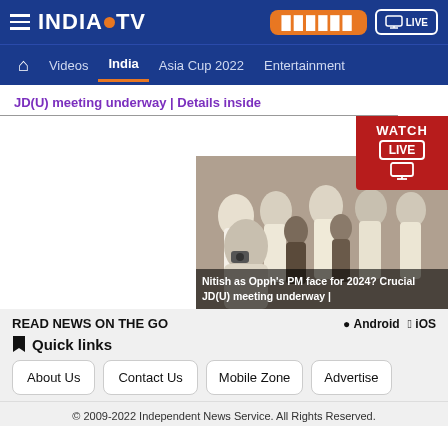INDIA TV — Navigation header with logo, Hindi button, LIVE button
Videos | India | Asia Cup 2022 | Entertainment
JD(U) meeting underway | Details inside
READ NEWS ON THE GO
Android   iOS
Quick links
About Us
Contact Us
Mobile Zone
Advertise
[Figure (photo): Group of people in white clothes, with caption: Nitish as Opph's PM face for 2024? Crucial JD(U) meeting underway | with WATCH LIVE overlay]
© 2009-2022 Independent News Service. All Rights Reserved.